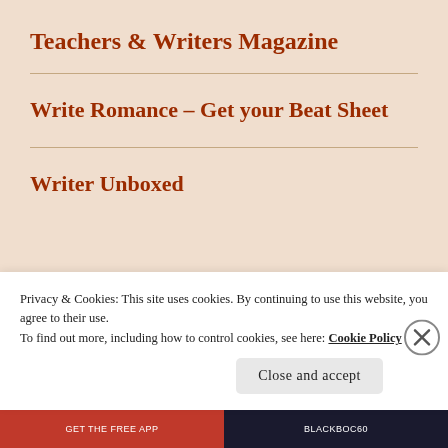Teachers & Writers Magazine
Write Romance – Get your Beat Sheet
Writer Unboxed
Privacy & Cookies: This site uses cookies. By continuing to use this website, you agree to their use.
To find out more, including how to control cookies, see here: Cookie Policy
Close and accept